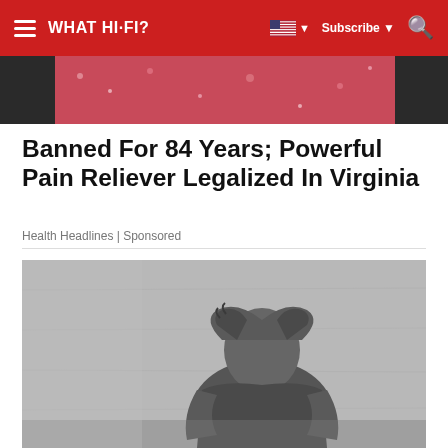WHAT HI-FI?
[Figure (photo): Partial top image strip showing a red/pink sparkly object, appears to be a partial crop of an article thumbnail image]
Banned For 84 Years; Powerful Pain Reliever Legalized In Virginia
Health Headlines | Sponsored
[Figure (photo): Black and white photograph of a person in distress, hunched over with hands covering their face, sitting against a concrete wall]